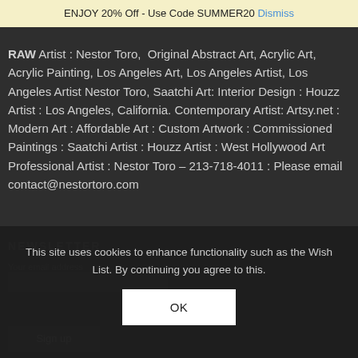: Nestor Toro Art : Toro Art : Nestor Toro Paintings: Custom…
ENJOY 20% Off - Use Code SUMMER20 Dismiss
RAW Artist : Nestor Toro,  Original Abstract Art, Acrylic Art, Acrylic Painting, Los Angeles Art, Los Angeles Artist, Los Angeles Artist Nestor Toro, Saatchi Art: Interior Design : Houzz Artist : Los Angeles, California. Contemporary Artist: Artsy.net : Modern Art : Affordable Art : Custom Artwork : Commissioned Paintings : Saatchi Artist : Houzz Artist : West Hollywood Art Professional Artist : Nestor Toro – 213-718-4011 : Please email contact@nestortoro.com
NEWSLETTER
Your email address
Sign up
This site uses cookies to enhance functionality such as the Wish List. By continuing you agree to this.
OK